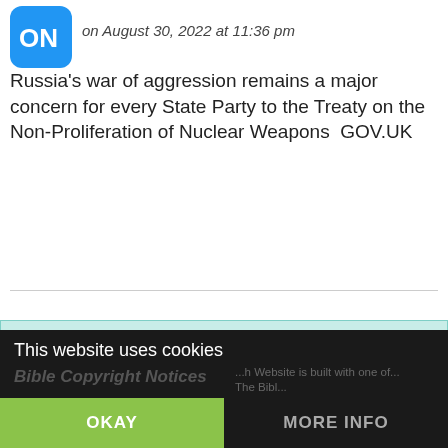[Figure (logo): Blue rounded square logo with white 'ON' letters or similar icon]
on August 30, 2022 at 11:36 pm
Russia's war of aggression remains a major concern for every State Party to the Treaty on the Non-Proliferation of Nuclear Weapons  GOV.UK
Recent News and Posts on End Times Prophecy
This website uses cookies
Bible Copyright Notices
OKAY
MORE INFO